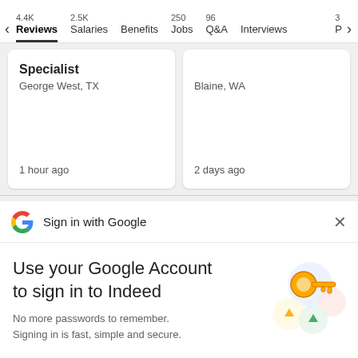4.4K Reviews | 2.5K Salaries | Benefits | 250 Jobs | 96 Q&A | Interviews | 3 P
Specialist
George West, TX
1 hour ago
Blaine, WA
2 days ago
Sign in with Google
Use your Google Account to sign in to Indeed
No more passwords to remember.
Signing in is fast, simple and secure.
[Figure (illustration): Google sign-in illustration with key, padlock and colorful shapes]
Continue